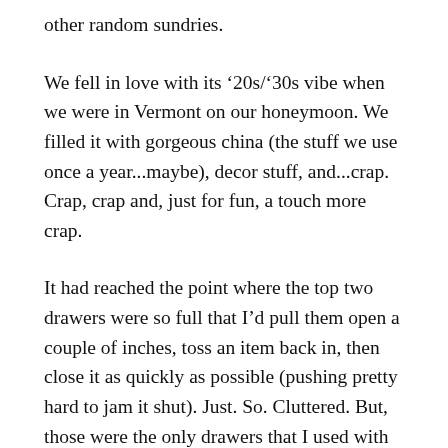other random sundries.
We fell in love with its ‘20s/’30s vibe when we were in Vermont on our honeymoon. We filled it with gorgeous china (the stuff we use once a year...maybe), decor stuff, and...crap. Crap, crap and, just for fun, a touch more crap.
It had reached the point where the top two drawers were so full that I’d pull them open a couple of inches, toss an item back in, then close it as quickly as possible (pushing pretty hard to jam it shut). Just. So. Cluttered. But, those were the only drawers that I used with any regularity. (Remember: extemporaneous china in the bottom drawers/cabinets.)